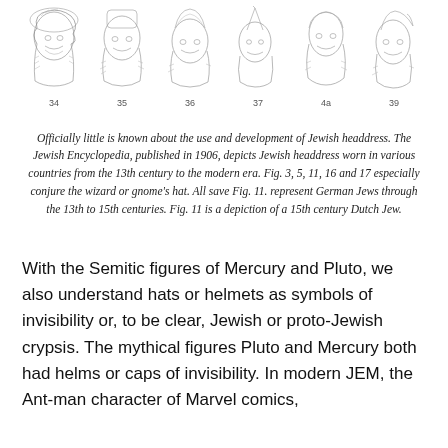[Figure (illustration): Six black-and-white engraved illustrations of heads wearing various Jewish headdresses, numbered 34, 35, 36, 37, 4a, 39 below each figure.]
Officially little is known about the use and development of Jewish headdress. The Jewish Encyclopedia, published in 1906, depicts Jewish headdress worn in various countries from the 13th century to the modern era. Fig. 3, 5, 11, 16 and 17 especially conjure the wizard or gnome's hat. All save Fig. 11. represent German Jews through the 13th to 15th centuries. Fig. 11 is a depiction of a 15th century Dutch Jew.
With the Semitic figures of Mercury and Pluto, we also understand hats or helmets as symbols of invisibility or, to be clear, Jewish or proto-Jewish crypsis. The mythical figures Pluto and Mercury both had helms or caps of invisibility. In modern JEM, the Ant-man character of Marvel comics,